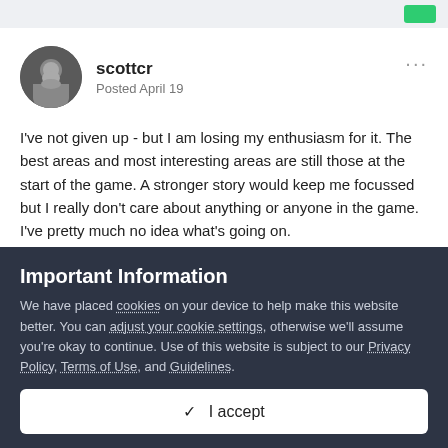scottcr
Posted April 19
I've not given up - but I am losing my enthusiasm for it.  The best areas and most interesting areas are still those at the start of the game.  A stronger story would keep me focussed but I really don't care about anything or anyone in the game.  I've pretty much no idea what's going on.
Important Information
We have placed cookies on your device to help make this website better. You can adjust your cookie settings, otherwise we'll assume you're okay to continue. Use of this website is subject to our Privacy Policy, Terms of Use, and Guidelines.
✓  I accept